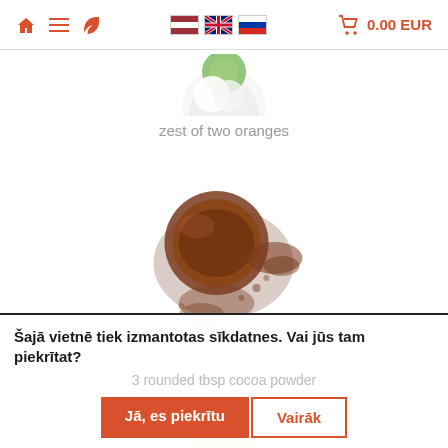Navigation bar with home, menu, leaf icons; Latvian, English, Russian flag selectors; cart 0.00 EUR
[Figure (photo): Partial view of a green and white citrus/orange at top of page]
zest of two oranges
[Figure (photo): Cocoa powder spilled from a spoon, dark brown powder]
Šajā vietnē tiek izmantotas sīkdatnes. Vai jūs tam piekrītat?
3 rounded tbsp cocoa powder
Jā, es piekrītu
Vairāk
[Figure (photo): Partial view of orange at bottom of page]